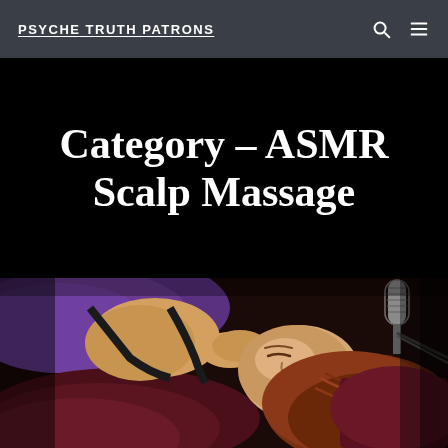PSYCHE TRUTH PATRONS
Category – ASMR Scalp Massage
[Figure (photo): A woman lying on her back on purple and burgundy pillows with eyes closed, appearing to receive a scalp massage. A microphone on a stand is visible in the upper right corner of the image.]